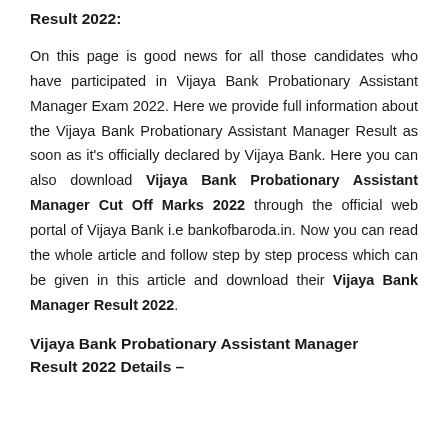Result 2022:
On this page is good news for all those candidates who have participated in Vijaya Bank Probationary Assistant Manager Exam 2022. Here we provide full information about the Vijaya Bank Probationary Assistant Manager Result as soon as it's officially declared by Vijaya Bank. Here you can also download Vijaya Bank Probationary Assistant Manager Cut Off Marks 2022 through the official web portal of Vijaya Bank i.e bankofbaroda.in. Now you can read the whole article and follow step by step process which can be given in this article and download their Vijaya Bank Manager Result 2022.
Vijaya Bank Probationary Assistant Manager Result 2022 Details –